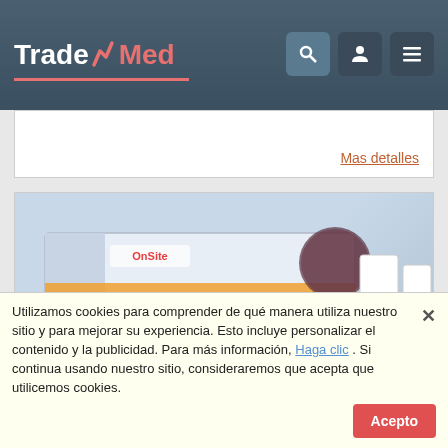TradeMed
Mas detalles
[Figure (photo): OnSite H. pylori Ab Combo Rapid Test product box with test cassette components]
Rapid Test
OnSite H. pylori Ab Combo Rapid Test
The OnSite H. pylori Ab Combo Rapid Test is a sandwich lateral flow chromatographic immunoassay for the qualitative detection of
Utilizamos cookies para comprender de qué manera utiliza nuestro sitio y para mejorar su experiencia. Esto incluye personalizar el contenido y la publicidad. Para más información, Haga clic . Si continua usando nuestro sitio, consideraremos que acepta que utilicemos cookies. Acepto